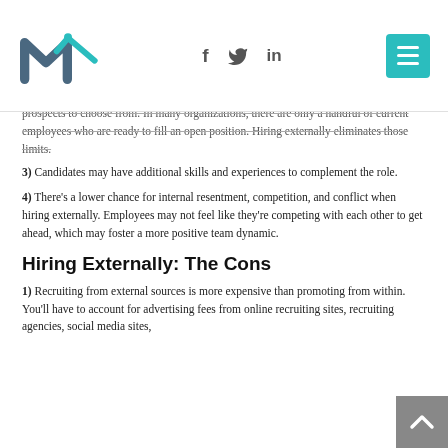M logo with social icons (Facebook, Twitter, LinkedIn) and hamburger menu
prospects to choose from. In many organizations, there are only a handful of current employees who are ready to fill an open position. Hiring externally eliminates those limits.
3) Candidates may have additional skills and experiences to complement the role.
4) There’s a lower chance for internal resentment, competition, and conflict when hiring externally. Employees may not feel like they’re competing with each other to get ahead, which may foster a more positive team dynamic.
Hiring Externally: The Cons
1) Recruiting from external sources is more expensive than promoting from within. You’ll have to account for advertising fees from online recruiting sites, recruiting agencies, social media sites,